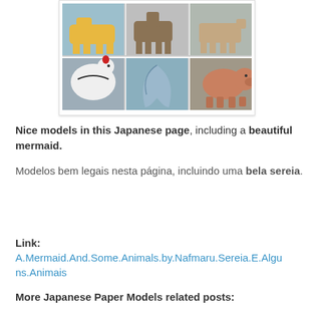[Figure (photo): A 2x3 grid of paper model animal photos: top row shows a yellow dog/fox, a brown horse/donkey, and a tan/beige animal hindquarters; bottom row shows a white chicken with red comb, a blue/gray mermaid tail or curved shape, and a brown pig.]
Nice models in this Japanese page, including a beautiful mermaid.

Modelos bem legais nesta página, incluindo uma bela sereia.
Link: A.Mermaid.And.Some.Animals.by.Nafmaru.Sereia.E.Alguns.Animais
More Japanese Paper Models related posts: